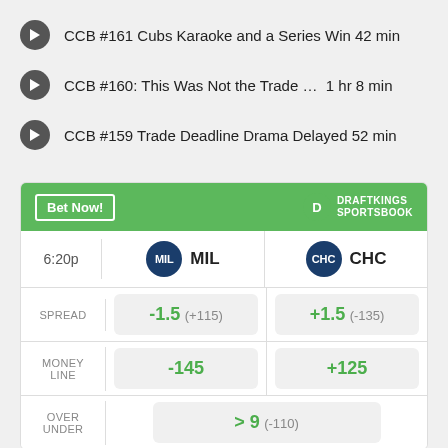CCB #161 Cubs Karaoke and a Series Win 42 min
CCB #160: This Was Not the Trade … 1 hr 8 min
CCB #159 Trade Deadline Drama Delayed 52 min
|  | MIL | CHC |
| --- | --- | --- |
| SPREAD | -1.5 (+115) | +1.5 (-135) |
| MONEY LINE | -145 | +125 |
| OVER UNDER |  | > 9 (-110) |